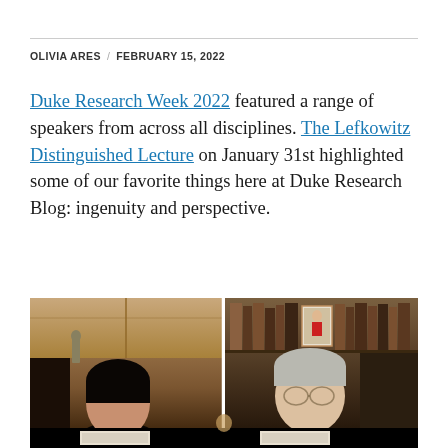OLIVIA ARES / FEBRUARY 15, 2022
Duke Research Week 2022 featured a range of speakers from across all disciplines. The Lefkowitz Distinguished Lecture on January 31st highlighted some of our favorite things here at Duke Research Blog: ingenuity and perspective.
[Figure (photo): Split-screen video call showing two people: on the left, a woman with dark hair wearing a black turtleneck, seated in front of wood cabinets; on the right, an older man with grey hair wearing a striped shirt with suspenders, seated in front of bookshelves.]